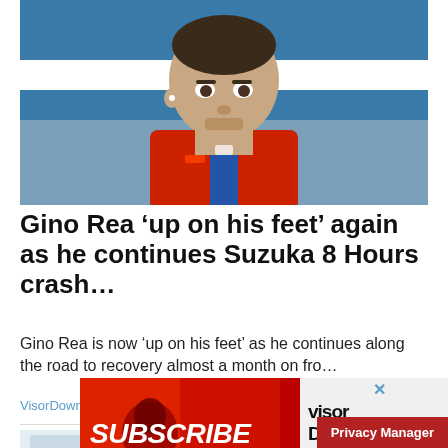[Figure (photo): Close-up photo of motorcycle racer Gino Rea wearing a blue and red racing suit with helmet earpiece, looking serious, against a blue and white background]
Gino Rea ‘up on his feet’ again as he continues Suzuka 8 Hours crash…
Gino Rea is now ‘up on his feet’ as he continues along the road to recovery almost a month on fro…
VisorDown
[Figure (photo): Partial view of a second article with a light-colored interior photo]
[Figure (other): VisorDown YouTube subscription advertisement banner with red background showing a motorcyclist silhouette and text SUBSCRIBE TO VISORDOWN with visor down logo and YouTube logo]
Privacy Manager